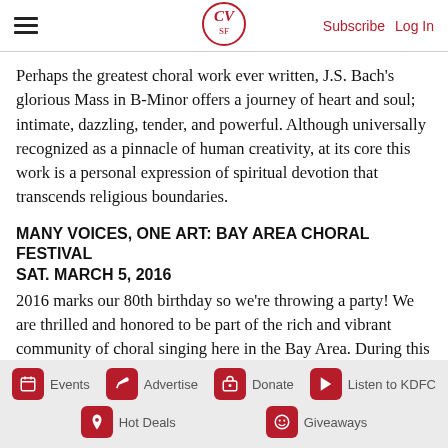CV SF | Subscribe  Log In
Perhaps the greatest choral work ever written, J.S. Bach’s glorious Mass in B-Minor offers a journey of heart and soul; intimate, dazzling, tender, and powerful. Although universally recognized as a pinnacle of human creativity, at its core this work is a personal expression of spiritual devotion that transcends religious boundaries.
MANY VOICES, ONE ART: BAY AREA CHORAL FESTIVAL
SAT. MARCH 5, 2016
2016 marks our 80th birthday so we’re throwing a party! We are thrilled and honored to be part of the rich and vibrant community of choral singing here in the Bay Area. During this daylong event we invite singers of all levels to celebrate our beloved art together.
Events  Advertise  Donate  Listen to KDFC  Hot Deals  Giveaways